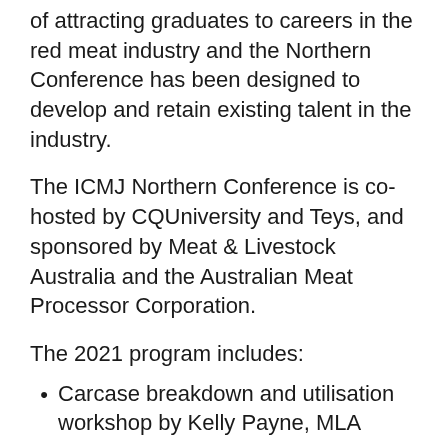of attracting graduates to careers in the red meat industry and the Northern Conference has been designed to develop and retain existing talent in the industry.
The ICMJ Northern Conference is co-hosted by CQUniversity and Teys, and sponsored by Meat & Livestock Australia and the Australian Meat Processor Corporation.
The 2021 program includes:
Carcase breakdown and utilisation workshop by Kelly Payne, MLA
Northern Industry Exhibition & Careers Expo
Tour of CQUniversity livestock research activities at AgForce's Belmont research station
Conference program.